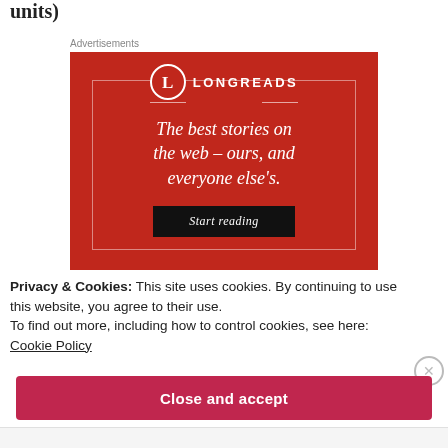units)
Advertisements
[Figure (illustration): Longreads advertisement banner with red background, circular logo with letter L, tagline 'The best stories on the web – ours, and everyone else's.' and a 'Start reading' button]
Privacy & Cookies: This site uses cookies. By continuing to use this website, you agree to their use.
To find out more, including how to control cookies, see here:
Cookie Policy
Close and accept